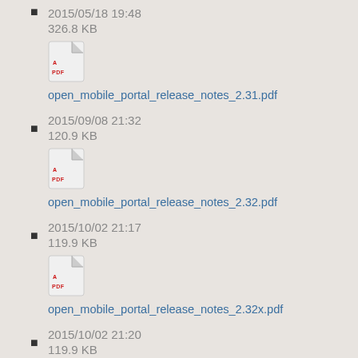2015/05/18 19:48
326.8 KB
open_mobile_portal_release_notes_2.31.pdf
2015/09/08 21:32
120.9 KB
open_mobile_portal_release_notes_2.32.pdf
2015/10/02 21:17
119.9 KB
open_mobile_portal_release_notes_2.32x.pdf
2015/10/02 21:20
119.9 KB